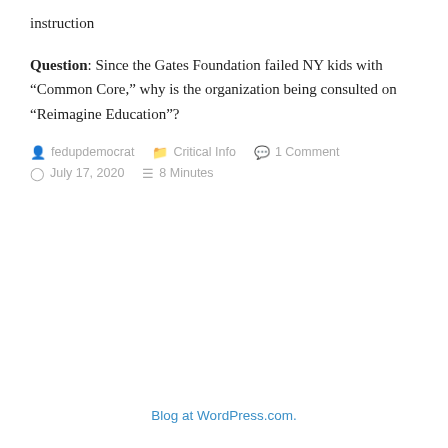instruction
Question: Since the Gates Foundation failed NY kids with “Common Core,” why is the organization being consulted on “Reimagine Education”?
fedupdemocrat   Critical Info   1 Comment   July 17, 2020   8 Minutes
Blog at WordPress.com.